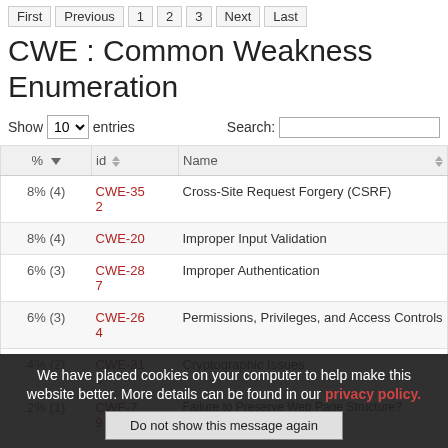First  Previous  1  2  3  Next  Last
CWE : Common Weakness Enumeration
Show 10 entries   Search:
| % | id | Name |
| --- | --- | --- |
| 8% (4) | CWE-352 | Cross-Site Request Forgery (CSRF) |
| 8% (4) | CWE-20 | Improper Input Validation |
| 6% (3) | CWE-287 | Improper Authentication |
| 6% (3) | CWE-264 | Permissions, Privileges, and Access Controls |
| 4% (2) | CWE-310 | Cryptographic Issues |
| 2% (1) | CWE-79 | Failure to Preserve Web Page Structure (Cross-site Scripting) |
| 2% (1) | CWE-754 | Improper Check for Unusual or Exceptional Conditions |
We have placed cookies on your computer to help make this website better. More details can be found in our privacy policy.
Do not show this message again